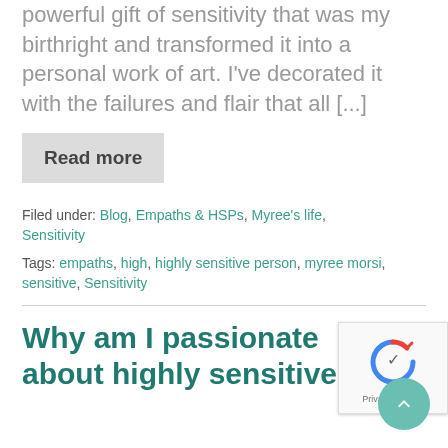powerful gift of sensitivity that was my birthright and transformed it into a personal work of art. I've decorated it with the failures and flair that all [...]
Read more
Filed under: Blog, Empaths & HSPs, Myree's life, Sensitivity
Tags: empaths, high, highly sensitive person, myree morsi, sensitive, Sensitivity
Why am I passionate about highly sensitive